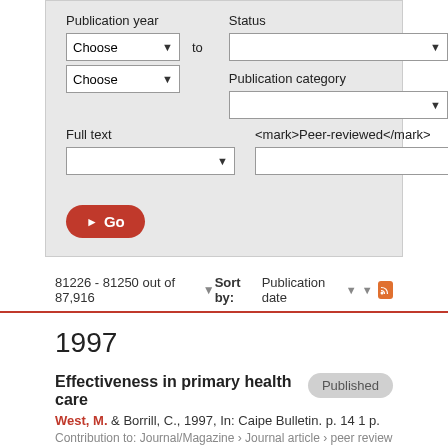[Figure (screenshot): Search filter panel with Publication year dropdowns, Status dropdown, Publication category dropdown, Full text dropdown, Peer-reviewed dropdown, and a red Go button]
81226 - 81250 out of 87,916 ▼   Sort by: Publication date ▼
1997
Effectiveness in primary health care
West, M. & Borrill, C., 1997, In: Caipe Bulletin. p. 14 1 p.
Contribution to: Journal/Magazine › Journal article › peer review